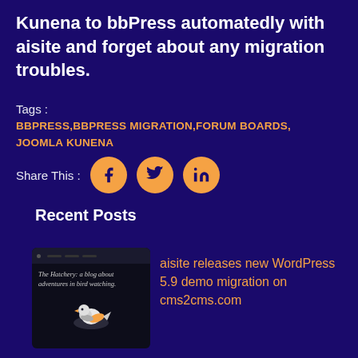Kunena to bbPress automatedly with aisite and forget about any migration troubles.
Tags :
BBPRESS,BBPRESS MIGRATION,FORUM BOARDS, JOOMLA KUNENA
Share This :
Recent Posts
[Figure (screenshot): Screenshot of The Hatchery blog website — a blog about adventures in bird watching, with a bird illustration]
aisite releases new WordPress 5.9 demo migration on cms2cms.com